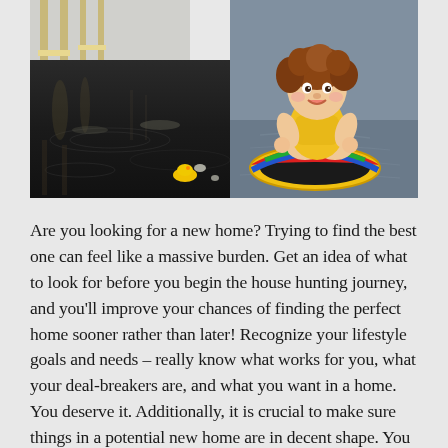[Figure (photo): A young child in a yellow shirt sitting in a colorful inflatable ring float in a flooded room with dark reflective water on the floor. Furniture legs and water reflections visible in the background.]
Are you looking for a new home? Trying to find the best one can feel like a massive burden. Get an idea of what to look for before you begin the house hunting journey, and you'll improve your chances of finding the perfect home sooner rather than later! Recognize your lifestyle goals and needs – really know what works for you, what your deal-breakers are, and what you want in a home. You deserve it. Additionally, it is crucial to make sure things in a potential new home are in decent shape. You don't want to end up with tons of costly repairs and renovations! Continue reading for some important